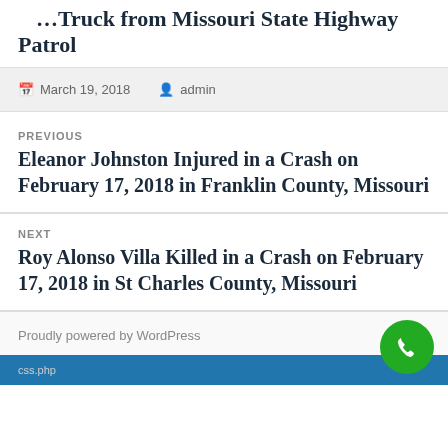…Truck from Missouri State Highway Patrol
March 19, 2018   admin
PREVIOUS
Eleanor Johnston Injured in a Crash on February 17, 2018 in Franklin County, Missouri
NEXT
Roy Alonso Villa Killed in a Crash on February 17, 2018 in St Charles County, Missouri
Proudly powered by WordPress